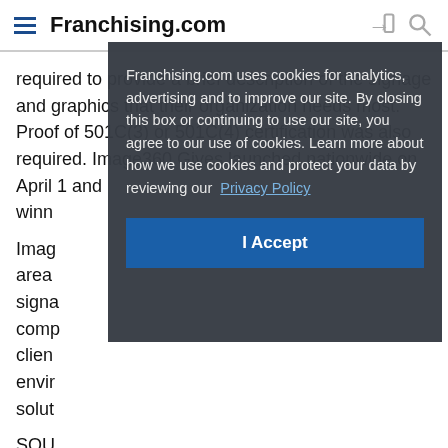Franchising.com
required to provide a brief description of the signage and graphics that their organization needs most. Proof of 501C(3) or 501C(4) certification was also required. Image360 Gives launched nationwide on April 1 and winn[ers were announced...]
Imag[e360...] area [...] signa[ge...] comp[any...] clien[ts...] envir[onment...] solut[ions...]
[Figure (screenshot): Cookie consent modal overlay on Franchising.com website. Dark grey semi-transparent box stating: 'Franchising.com uses cookies for analytics, advertising and to improve our site. By closing this box or continuing to use our site, you agree to our use of cookies. Learn more about how we use cookies and protect your data by reviewing our Privacy Policy' with a blue 'I Accept' button.]
SOU[RCE:...] of Im[age360...]